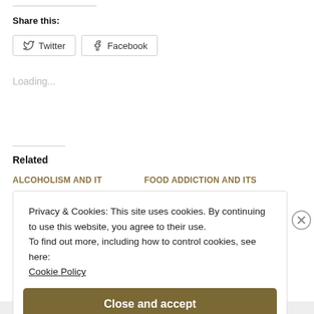Share this:
[Figure (other): Twitter and Facebook share buttons]
Loading...
Related
ALCOHOLISM AND IT    FOOD ADDICTION AND ITS
Privacy & Cookies: This site uses cookies. By continuing to use this website, you agree to their use.
To find out more, including how to control cookies, see here: Cookie Policy
Close and accept